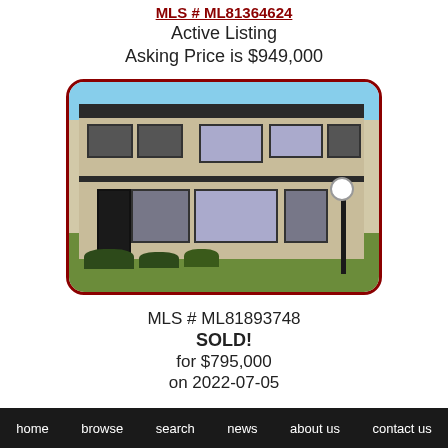MLS # ML81364624
Active Listing
Asking Price is $949,000
[Figure (photo): Exterior photo of a multi-unit townhouse/condominium complex with stucco facade, dark window frames, landscaped lawn, and a lamp post in front. Rounded red border frame.]
MLS # ML81893748
SOLD!
for $795,000
on 2022-07-05
home   browse   search   news   about us   contact us